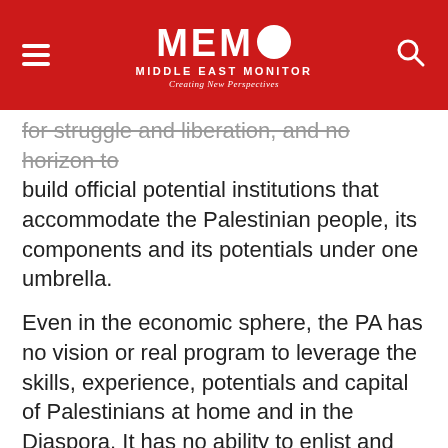[Figure (logo): MEMO Middle East Monitor logo with hamburger menu icon on left and search icon on right, on a red background. Tagline: Creating New Perspectives]
for struggle and liberation, and no horizon to build official potential institutions that accommodate the Palestinian people, its components and its potentials under one umbrella.
Even in the economic sphere, the PA has no vision or real program to leverage the skills, experience, potentials and capital of Palestinians at home and in the Diaspora. It has no ability to enlist and mobilize these assets in a national project for liberation.
READ: Abbas and his 'optimism' spell danger for Palestinians